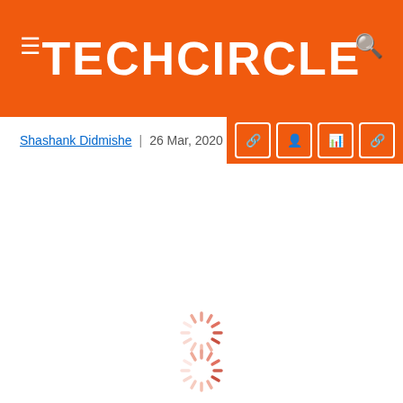TECHCiRCLE
Shashank Didmishe | 26 Mar, 2020
[Figure (other): Loading spinner (circular progress indicator) in pink/salmon tones]
[Figure (other): Loading spinner (circular progress indicator) in pink/salmon tones, positioned near bottom of page]